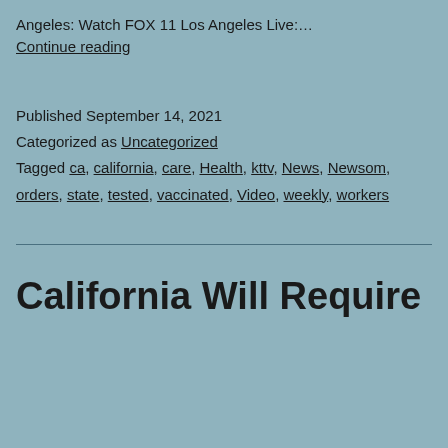Angeles: Watch FOX 11 Los Angeles Live:…
Continue reading
Published September 14, 2021
Categorized as Uncategorized
Tagged ca, california, care, Health, kttv, News, Newsom, orders, state, tested, vaccinated, Video, weekly, workers
California Will Require